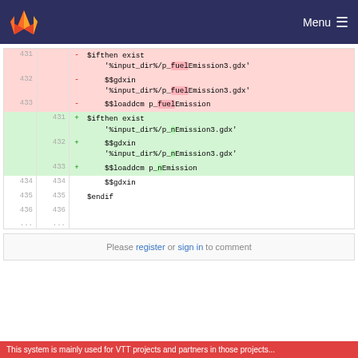Menu
[Figure (screenshot): GitLab code diff showing lines 431-436, with deleted lines (red background) containing $ifthen exist '%input_dir%/p_fuelEmission3.gdx', $$gdxin '%input_dir%/p_fuelEmission3.gdx', $$loaddcm p_fuelEmission, and added lines (green background) containing $ifthen exist '%input_dir%/p_nEmission3.gdx', $$gdxin '%input_dir%/p_nEmission3.gdx', $$loaddcm p_nEmission, followed by neutral lines 434-436 with $$gdxin, $endif, and blank.]
Please register or sign in to comment
This system is mainly used for VTT projects and partners in those projects...